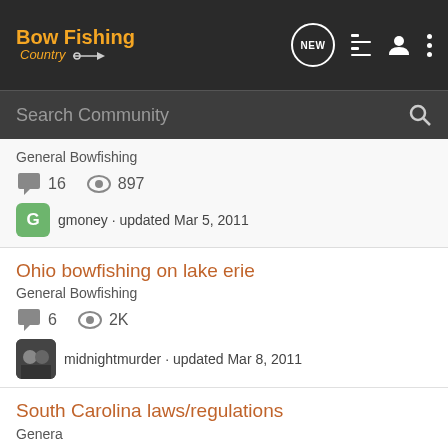BowFishing Country - navigation header with logo, NEW, list, user, menu icons
Search Community
General Bowfishing · 16 comments · 897 views · gmoney · updated Mar 5, 2011
Ohio bowfishing on lake erie
General Bowfishing
6 comments · 2K views · midnightmurder · updated Mar 8, 2011
South Carolina laws/regulations
General Bowfishing
[Figure (screenshot): Advertisement banner: OPTIC READY SLIMLINE, MOS, FIND A DEALER button, Glock Perfection logo]